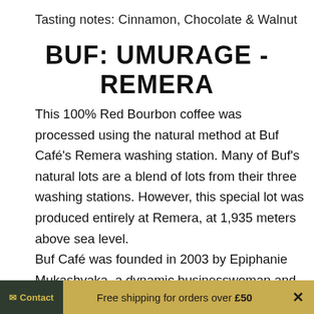Tasting notes: Cinnamon, Chocolate & Walnut
BUF: UMURAGE - REMERA
This 100% Red Bourbon coffee was processed using the natural method at Buf Café's Remera washing station. Many of Buf's natural lots are a blend of lots from their three washing stations. However, this special lot was produced entirely at Remera, at 1,935 meters above sea level. Buf Café was founded in 2003 by Epiphanie Mukashyaka, a dynamic businesswoman and a source of inspiration to countless other female entrepreneurs in Rwanda's coffee sector and beyond. Buf is now managed by Epiphanie and
Contact   Free shipping for orders over £50   ×